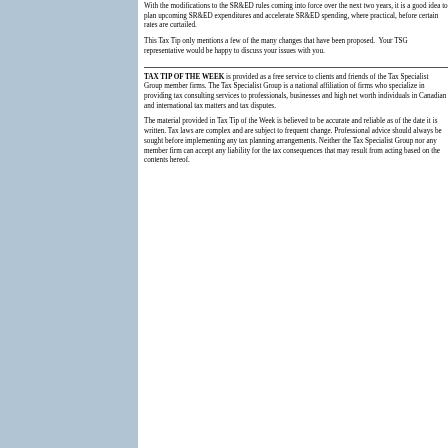With the modifications to the SR&ED rules coming into force over the next two years, it is a good idea to plan upcoming SR&ED expenditures and accelerate SR&ED spending, where practical, before certain rates are curtailed.
This Tax Tip only mentions a few of the many changes that have been proposed. Your TSG representative would be happy to discuss your issues with you.
TAX TIP OF THE WEEK is provided as a free service to clients and friends of the Tax Specialist Group member firms. The Tax Specialist Group is a national affiliation of firms who specialize in providing tax consulting services to professionals, businesses and high net worth individuals in Canadian and international tax matters and tax disputes.
The material provided in Tax Tip of the Week is believed to be accurate and reliable as of the date it is written. Tax laws are complex and are subject to frequent change. Professional advice should always be sought before implementing any tax planning arrangements. Neither the Tax Specialist Group nor any member firm can accept any liability for the tax consequences that may result from acting based on the contents hereof.